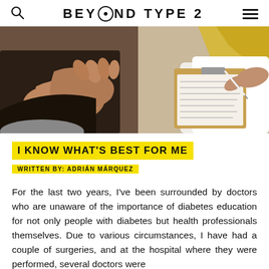BEYOND TYPE 2
[Figure (photo): Photo of a patient gesturing with hands and a doctor writing on a clipboard with a pen, seated consultation scene]
I KNOW WHAT'S BEST FOR ME
WRITTEN BY: ADRIÁN MÁRQUEZ
For the last two years, I've been surrounded by doctors who are unaware of the importance of diabetes education for not only people with diabetes but health professionals themselves. Due to various circumstances, I have had a couple of surgeries, and at the hospital where they were performed, several doctors were